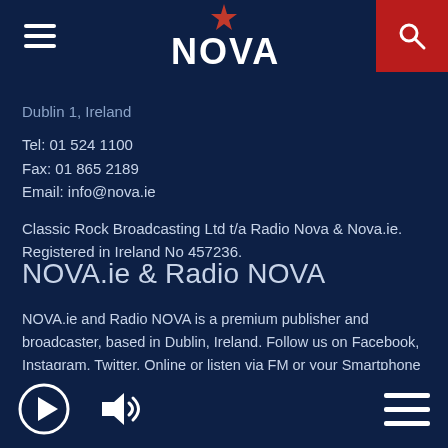NOVA — navigation bar with hamburger menu, NOVA logo, and search button
Dublin 1, Ireland
Tel: 01 524 1100
Fax: 01 865 2189
Email: info@nova.ie
Classic Rock Broadcasting Ltd t/a Radio Nova & Nova.ie. Registered in Ireland No 457236.
NOVA.ie & Radio NOVA
NOVA.ie and Radio NOVA is a premium publisher and broadcaster, based in Dublin, Ireland. Follow us on Facebook, Instagram, Twitter, Online or listen via FM or your Smartphone and you'll be seriously addicted before you know it!
Bottom bar with play icon, volume icon, and hamburger menu icon